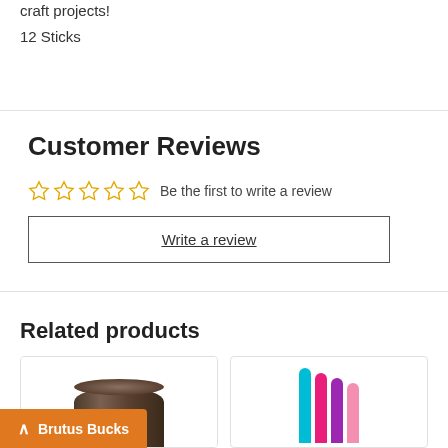craft projects!
12 Sticks
Customer Reviews
Be the first to write a review
Write a review
Related products
[Figure (photo): A dark cylindrical object (candle or wax product) viewed from above]
[Figure (photo): Four colored sticks (cyan, pink, purple, light pink) standing upright]